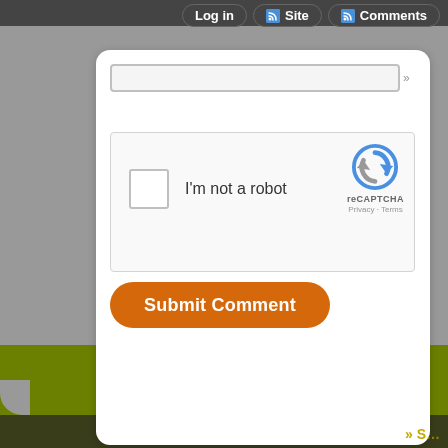Log in   Site   Comments
[Figure (screenshot): reCAPTCHA widget with checkbox labeled 'I'm not a robot' and reCAPTCHA logo with Privacy and Terms links]
Submit Comment
» S